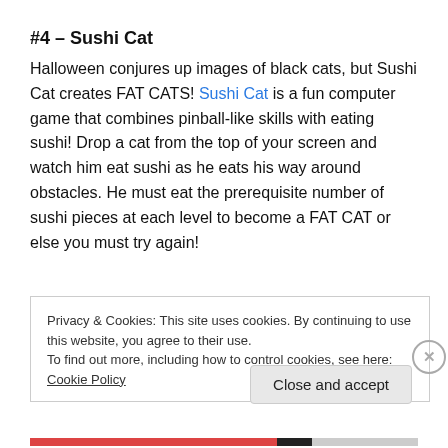#4 – Sushi Cat
Halloween conjures up images of black cats, but Sushi Cat creates FAT CATS! Sushi Cat is a fun computer game that combines pinball-like skills with eating sushi! Drop a cat from the top of your screen and watch him eat sushi as he eats his way around obstacles. He must eat the prerequisite number of sushi pieces at each level to become a FAT CAT or else you must try again!
Privacy & Cookies: This site uses cookies. By continuing to use this website, you agree to their use.
To find out more, including how to control cookies, see here: Cookie Policy
Close and accept